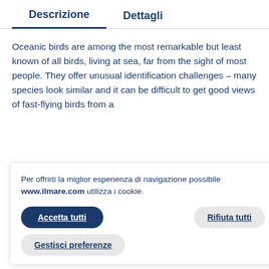Descrizione	Dettagli
Oceanic birds are among the most remarkable but least known of all birds, living at sea, far from the sight of most people. They offer unusual identification challenges – many species look similar and it can be difficult to get good views of fast-flying birds from a
Per offrirti la miglior esperienza di navigazione possibile www.ilmare.com utilizza i cookie.
Accetta tutti
Rifiuta tutti
Gestisci preferenze
such an accessible and comprehensive way. The